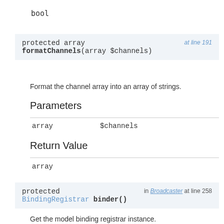bool
protected array formatChannels(array $channels)
Format the channel array into an array of strings.
Parameters
| array | $channels |
Return Value
array
protected BindingRegistrar binder()
Get the model binding registrar instance.